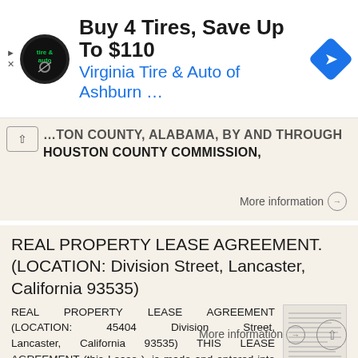[Figure (screenshot): Ad banner for Virginia Tire & Auto of Ashburn with logo, text 'Buy 4 Tires, Save Up To $110' and navigation arrow diamond icon]
TON COUNTY, ALABAMA, BY AND THROUGH HOUSTON COUNTY COMMISSION,
More information →
REAL PROPERTY LEASE AGREEMENT. (LOCATION: Division Street, Lancaster, California 93535)
REAL PROPERTY LEASE AGREEMENT (LOCATION: 45404 Division Street, Lancaster, California 93535) THIS LEASE AGREEMENT (this Lease ), is made and entered into this 1st day of July, 2014 (the Date of this Lease
More information →